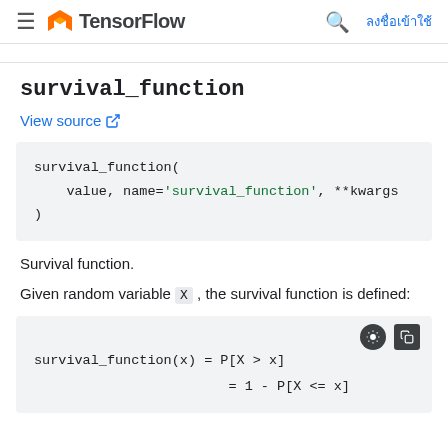TensorFlow — ลงชื่อเข้าใช้
survival_function
View source
survival_function(
    value, name='survival_function', **kwargs
)
Survival function.
Given random variable X , the survival function is defined: